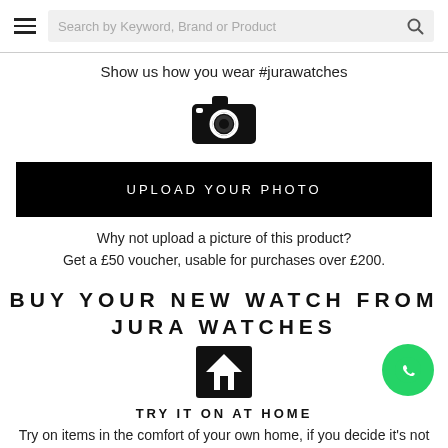Search by Keyword, Brand or Product
Show us how you wear #jurawatches
[Figure (illustration): Camera icon (black silhouette)]
UPLOAD YOUR PHOTO
Why not upload a picture of this product?
Get a £50 voucher, usable for purchases over £200.
BUY YOUR NEW WATCH FROM JURA WATCHES
[Figure (illustration): House icon (white on black square background)]
TRY IT ON AT HOME
Try on items in the comfort of your own home, if you decide it's not